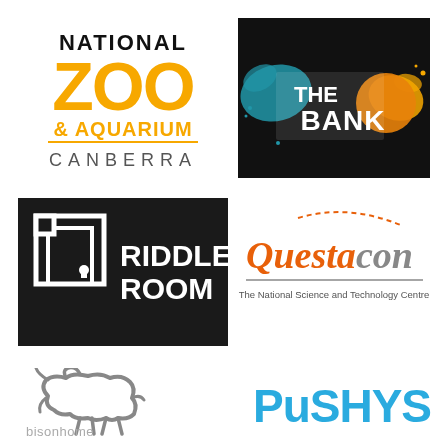[Figure (logo): National Zoo & Aquarium Canberra logo - black text NATIONAL, large orange ZOO, orange & AQUARIUM, gray CANBERRA]
[Figure (logo): The Bank logo - dark background with colorful paint splatter, white text THE BANK]
[Figure (logo): Riddle Room logo - black square background with white geometric door icon and white text RIDDLE ROOM]
[Figure (logo): Questacon logo - orange and gray text Questacon with dashed arc, subtitle The National Science and Technology Centre]
[Figure (logo): Bisonhome logo - gray outline of bison with gray lowercase text bisonhome below]
[Figure (logo): Pushys logo - bold blue uppercase text PUSHYS]